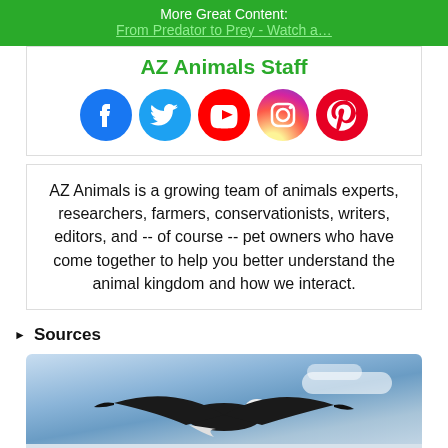More Great Content:
From Predator to Prey - Watch a…
AZ Animals Staff
[Figure (illustration): Social media icons: Facebook, Twitter, YouTube, Instagram, Pinterest]
AZ Animals is a growing team of animals experts, researchers, farmers, conservationists, writers, editors, and -- of course -- pet owners who have come together to help you better understand the animal kingdom and how we interact.
▶ Sources
[Figure (photo): Bald eagle in flight over water with blue sky and clouds]
🏆 Bird Quiz - 2,161 People Couldn't Ace This Quiz